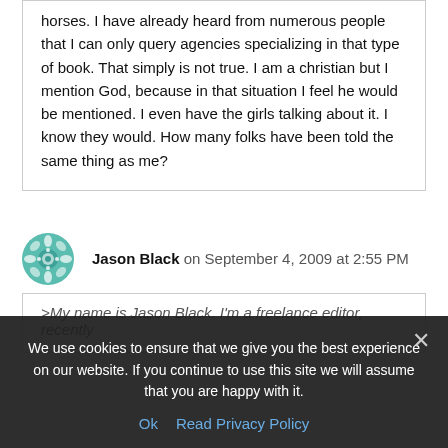horses. I have already heard from numerous people that I can only query agencies specializing in that type of book. That simply is not true. I am a christian but I mention God, because in that situation I feel he would be mentioned. I even have the girls talking about it. I know they would. How many folks have been told the same thing as me?
Jason Black on September 4, 2009 at 2:55 PM
>My name is Jason Black. I'm a freelance editor, recently
We use cookies to ensure that we give you the best experience on our website. If you continue to use this site we will assume that you are happy with it.
Ok   Read Privacy Policy